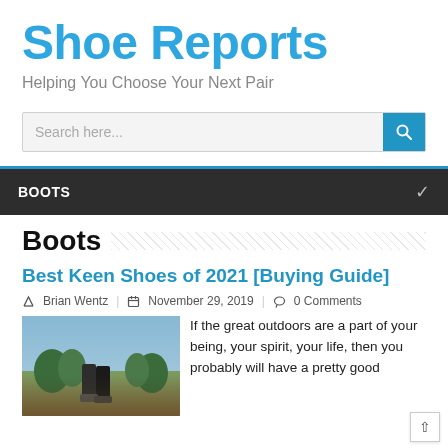Shoe Reports
Helping You Choose Your Next Pair
BOOTS
Boots
Best Keen Shoes of 2021 [Buying Guide]
Brian Wentz | November 29, 2019 | 0 Comments
[Figure (photo): Outdoor boots worn by hikers on rocky terrain with trees in background]
If the great outdoors are a part of your being, your spirit, your life, then you probably will have a pretty good